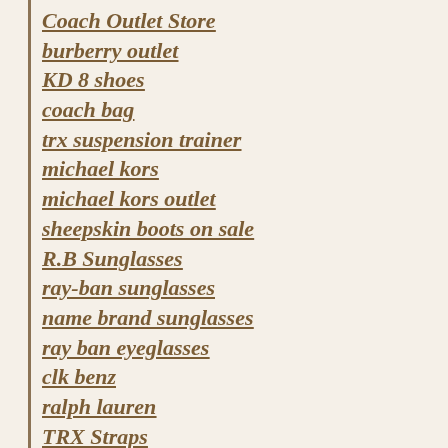Coach Outlet Store
burberry outlet
KD 8 shoes
coach bag
trx suspension trainer
michael kors
michael kors outlet
sheepskin boots on sale
R.B Sunglasses
ray-ban sunglasses
name brand sunglasses
ray ban eyeglasses
clk benz
ralph lauren
TRX Straps
pandora charms
Hugo Boss Outlet